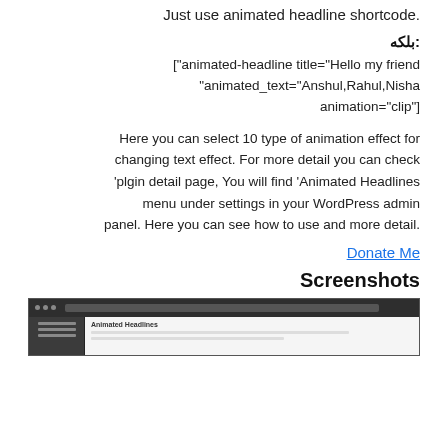Just use animated headline shortcode.
بلکه:
animated-headline title="Hello my friend"] animated_text="Anshul,Rahul,Nisha" ["animation="clip
Here you can select 10 type of animation effect for changing text effect. For more detail you can check plgin detail page, You will find ‘Animated Headlines’ menu under settings in your WordPress admin panel. Here you can see how to use and more detail.
Donate Me
Screenshots
[Figure (screenshot): Screenshot of WordPress admin panel showing Animated Headlines plugin]